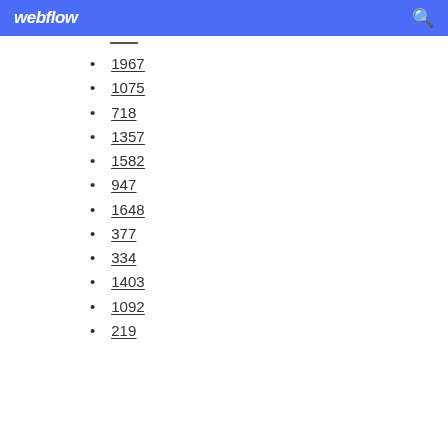webflow
1967
1075
718
1357
1582
947
1648
377
334
1403
1092
219